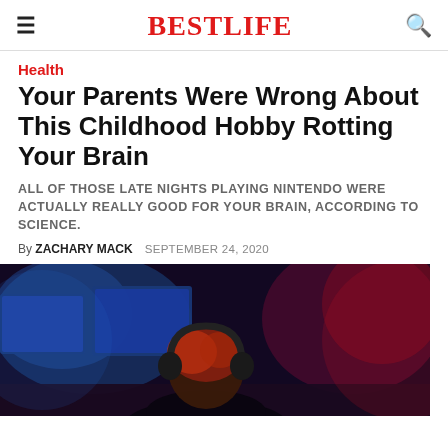BESTLIFE
Health
Your Parents Were Wrong About This Childhood Hobby Rotting Your Brain
ALL OF THOSE LATE NIGHTS PLAYING NINTENDO WERE ACTUALLY REALLY GOOD FOR YOUR BRAIN, ACCORDING TO SCIENCE.
By ZACHARY MACK   SEPTEMBER 24, 2020
[Figure (photo): Person with headphones seen from behind, facing gaming monitors in a dark room with red and blue lighting]